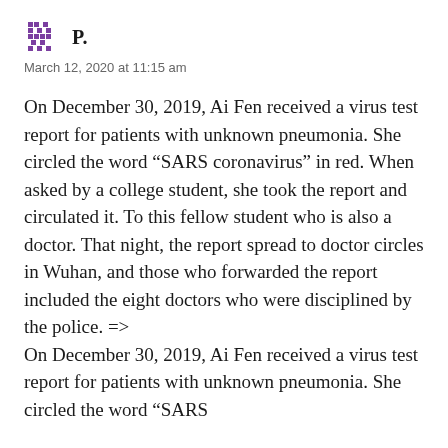P.
March 12, 2020 at 11:15 am
On December 30, 2019, Ai Fen received a virus test report for patients with unknown pneumonia. She circled the word “SARS coronavirus” in red. When asked by a college student, she took the report and circulated it. To this fellow student who is also a doctor. That night, the report spread to doctor circles in Wuhan, and those who forwarded the report included the eight doctors who were disciplined by the police. =>
On December 30, 2019, Ai Fen received a virus test report for patients with unknown pneumonia. She circled the word “SARS